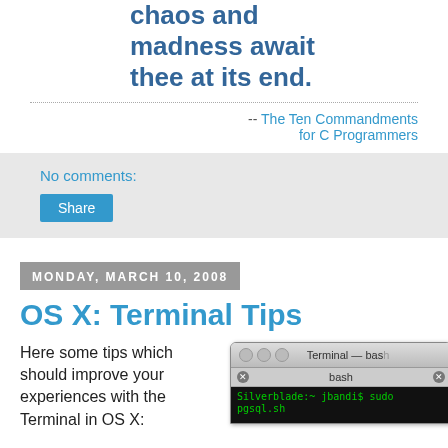chaos and madness await thee at its end.
-- The Ten Commandments for C Programmers
No comments:
Share
MONDAY, MARCH 10, 2008
OS X: Terminal Tips
Here some tips which should improve your experiences with the Terminal in OS X:
[Figure (screenshot): Mac OS X Terminal window showing bash shell with command: Silverblade:~ jbandi$ sudo pgsql.sh]